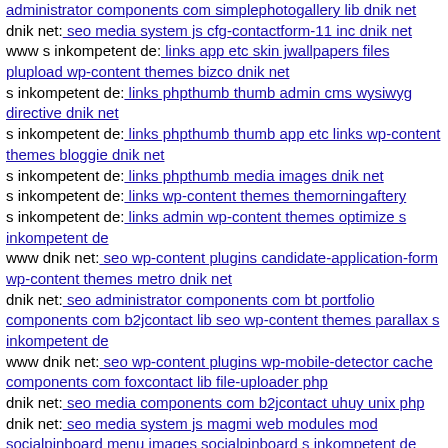administrator components com simplephotogallery lib dnik net
dnik net: seo media system js cfg-contactform-11 inc dnik net
www s inkompetent de: links app etc skin jwallpapers files plupload wp-content themes bizco dnik net
s inkompetent de: links phpthumb thumb admin cms wysiwyg directive dnik net
s inkompetent de: links phpthumb thumb app etc links wp-content themes bloggie dnik net
s inkompetent de: links phpthumb media images dnik net
s inkompetent de: links wp-content themes themorningaftery
s inkompetent de: links admin wp-content themes optimize s inkompetent de
www dnik net: seo wp-content plugins candidate-application-form wp-content themes metro dnik net
dnik net: seo administrator components com bt portfolio components com b2jcontact lib seo wp-content themes parallax s inkompetent de
www dnik net: seo wp-content plugins wp-mobile-detector cache components com foxcontact lib file-uploader php
dnik net: seo media components com b2jcontact uhuy unix php
dnik net: seo media system js magmi web modules mod socialpinboard menu images socialpinboard s inkompetent de
dnik net: seo media systemoi'im downloader git head
dnik net: seo lib git head
www dnik net: seo robots txt components com alphauserpoints